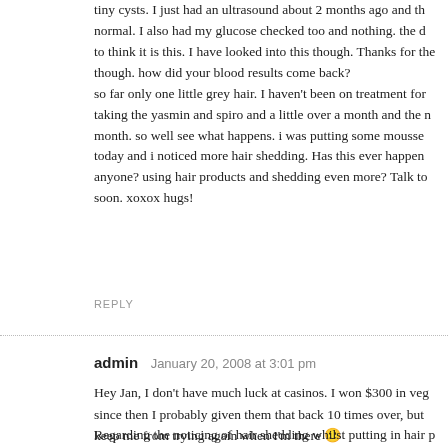tiny cysts. I just had an ultrasound about 2 months ago and th normal. I also had my glucose checked too and nothing. the d to think it is this. I have looked into this though. Thanks for the though. how did your blood results come back? so far only one little grey hair. I haven't been on treatment for taking the yasmin and spiro and a little over a month and the n month. so well see what happens. i was putting some mousse today and i noticed more hair shedding. Has this ever happen anyone? using hair products and shedding even more? Talk to soon. xoxox hugs!
REPLY
admin  January 20, 2008 at 3:01 pm
Hey Jan, I don't have much luck at casinos. I won $300 in veg since then I probably given them that back 10 times over, but keep me from trying again when I'm there 🙂
Regarding the noticing of hair shedding whilst putting in hair p too notice hair shedding when I do that with my defrizzers or...